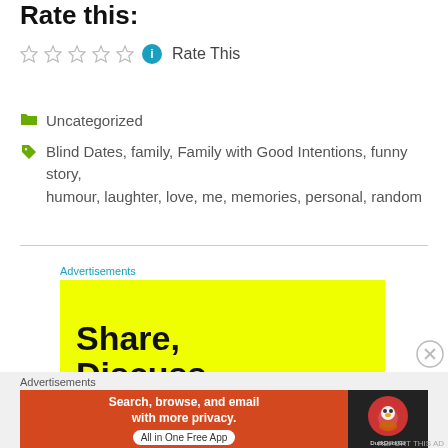Rate this:
Rate This
Uncategorized
Blind Dates, family, Family with Good Intentions, funny story, humour, laughter, love, me, memories, personal, random
Advertisements
[Figure (infographic): Yellow advertisement banner with bold black text reading 'Share, Discuss, Collaborate.']
Advertisements
[Figure (infographic): DuckDuckGo advertisement with orange background. Text: 'Search, browse, and email with more privacy. All in One Free App'. DuckDuckGo logo on dark background on right side.]